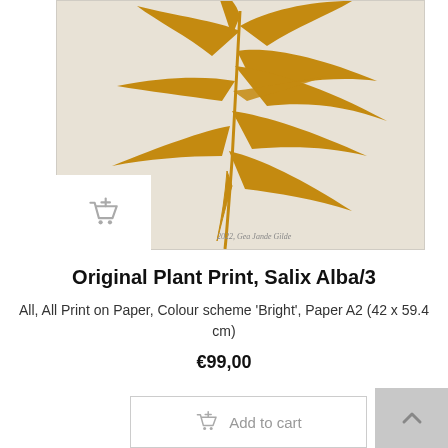[Figure (photo): A botanical plant print artwork showing golden-ochre willow (Salix Alba) leaves on a cream/beige background paper. The artwork is signed at the bottom right. Displayed as a product image on an e-commerce page. A small shopping cart icon appears overlaid at the bottom-left of the image.]
Original Plant Print, Salix Alba/3
All, All Print on Paper, Colour scheme 'Bright', Paper A2 (42 x 59.4 cm)
€99,00
Add to cart